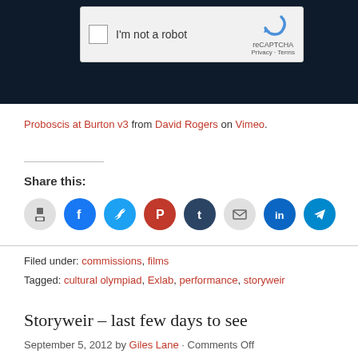[Figure (screenshot): Dark background area with reCAPTCHA 'I'm not a robot' widget showing a checkbox, label text, reCAPTCHA logo, and Privacy/Terms links]
Proboscis at Burton v3 from David Rogers on Vimeo.
Share this:
[Figure (infographic): Row of social share icon buttons: print, Facebook, Twitter, Pinterest, Tumblr, email, LinkedIn, Telegram]
Filed under: commissions, films
Tagged: cultural olympiad, Exlab, performance, storyweir
Storyweir – last few days to see
September 5, 2012 by Giles Lane · Comments Off